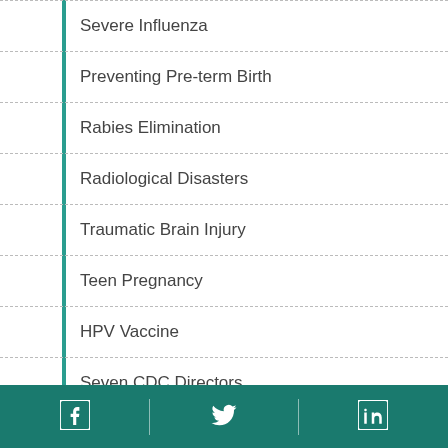Severe Influenza
Preventing Pre-term Birth
Rabies Elimination
Radiological Disasters
Traumatic Brain Injury
Teen Pregnancy
HPV Vaccine
Seven CDC Directors
Facebook Twitter LinkedIn